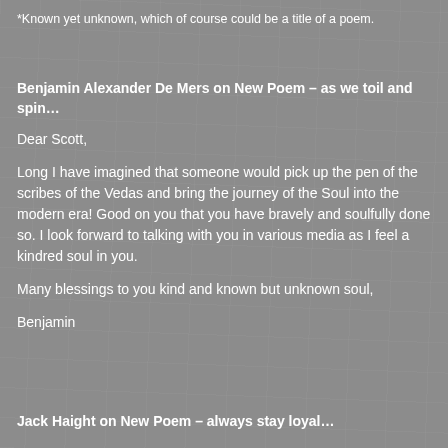*Known yet unknown, which of course could be a title of a poem.
Benjamin Alexander De Mers on New Poem – as we toil and spin…
Dear Scott,
Long I have imagined that someone would pick up the pen of the scribes of the Vedas and bring the journey of the Soul into the modern era! Good on you that you have bravely and soulfully done so. I look forward to talking with you in various media as I feel a kindred soul in you.
Many blessings to you kind and known but unknown soul,
Benjamin
Jack Haight on New Poem – always stay loyal…